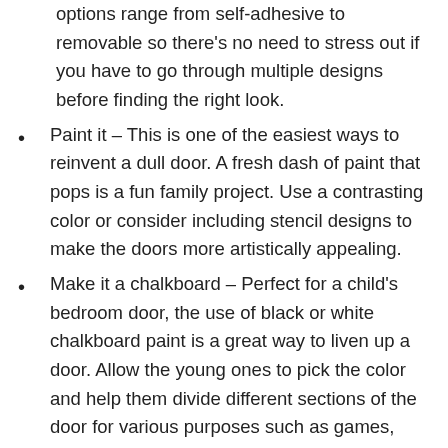options range from self-adhesive to removable so there's no need to stress out if you have to go through multiple designs before finding the right look.
Paint it – This is one of the easiest ways to reinvent a dull door. A fresh dash of paint that pops is a fun family project. Use a contrasting color or consider including stencil designs to make the doors more artistically appealing.
Make it a chalkboard – Perfect for a child's bedroom door, the use of black or white chalkboard paint is a great way to liven up a door. Allow the young ones to pick the color and help them divide different sections of the door for various purposes such as games, schedules, drawings, artwork, and pictures.
Change the door handle – Sometimes that's all it takes to give a dull door a bit of a facelift. There are limited options of door handles and handle...